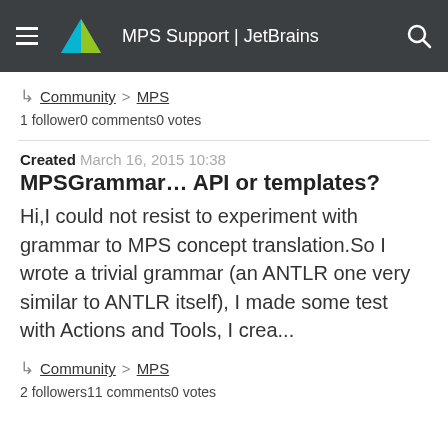MPS Support | JetBrains
Community > MPS
1 follower0 comments0 votes
Created March 16, 2015 10:38
MPSGrammar... API or templates?
Hi,I could not resist to experiment with grammar to MPS concept translation.So I wrote a trivial grammar (an ANTLR one very similar to ANTLR itself), I made some test with Actions and Tools, I crea...
Community > MPS
2 followers11 comments0 votes